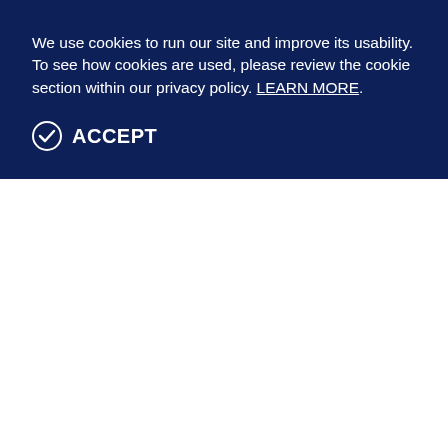We use cookies to run our site and improve its usability. To see how cookies are used, please review the cookie section within our privacy policy. LEARN MORE.
✔ ACCEPT